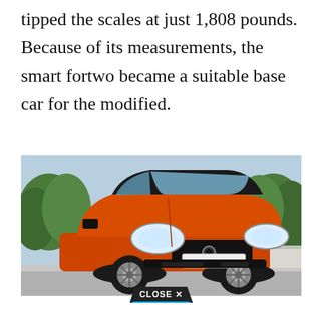tipped the scales at just 1,808 pounds. Because of its measurements, the smart fortwo became a suitable base car for the modified.
[Figure (photo): Orange Smart fortwo car photographed from a front three-quarter angle on a road, with trees and a barrier in the background. A 'CLOSE X' button appears at the bottom center of the image.]